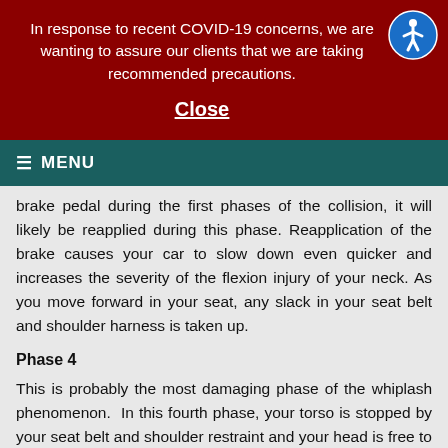In response to recent COVID-19 concerns, we are wanting to assure our clients that we are taking recommended precautions.
Close
≡ MENU
brake pedal during the first phases of the collision, it will likely be reapplied during this phase. Reapplication of the brake causes your car to slow down even quicker and increases the severity of the flexion injury of your neck. As you move forward in your seat, any slack in your seat belt and shoulder harness is taken up.
Phase 4
This is probably the most damaging phase of the whiplash phenomenon. In this fourth phase, your torso is stopped by your seat belt and shoulder restraint and your head is free to move forward unimpeded. This results in a violent forward-bending motion of your neck, straining